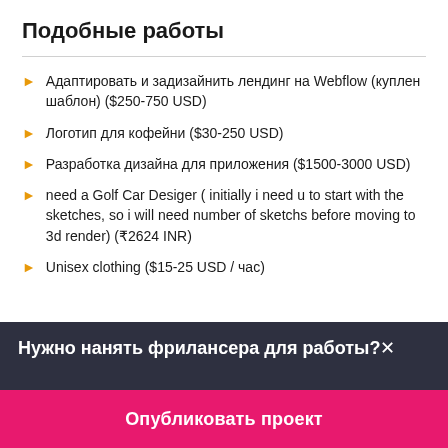Подобные работы
Адаптировать и задизайнить лендинг на Webflow (куплен шаблон) ($250-750 USD)
Логотип для кофейни ($30-250 USD)
Разработка дизайна для приложения ($1500-3000 USD)
need a Golf Car Desiger ( initially i need u to start with the sketches, so i will need number of sketchs before moving to 3d render) (₹2624 INR)
Unisex clothing ($15-25 USD / час)
Нужно нанять фрилансера для работы?×
Опубликовать проект